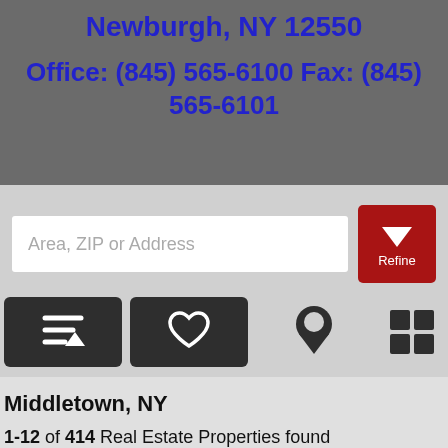Newburgh, NY 12550
Office: (845) 565-6100 Fax: (845) 565-6101
[Figure (screenshot): Search interface with text input field labeled 'Area, ZIP or Address', a red Refine button with down arrow, and toolbar with sort, favorites, map pin, and grid view icons]
Middletown, NY
1-12 of 414 Real Estate Properties found